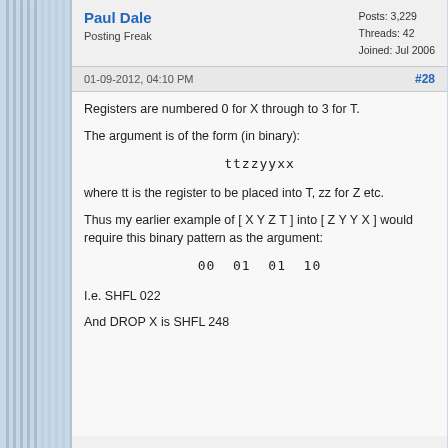Paul Dale
Posting Freak
Posts: 3,229
Threads: 42
Joined: Jul 2006
01-09-2012, 04:10 PM
#28
Registers are numbered 0 for X through to 3 for T.
The argument is of the form (in binary):
where tt is the register to be placed into T, zz for Z etc.
Thus my earlier example of [ X Y Z T ] into [ Z Y Y X ] would require this binary pattern as the argument:
I.e. SHFL 022
And DROP X is SHFL 248